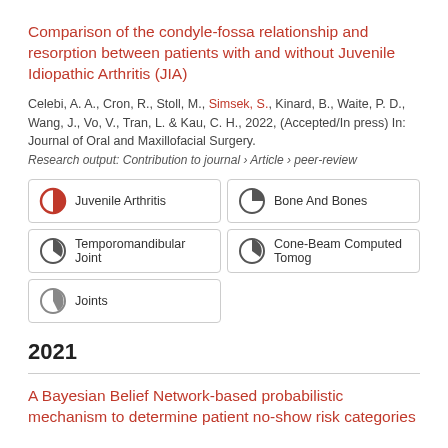Comparison of the condyle-fossa relationship and resorption between patients with and without Juvenile Idiopathic Arthritis (JIA)
Celebi, A. A., Cron, R., Stoll, M., Simsek, S., Kinard, B., Waite, P. D., Wang, J., Vo, V., Tran, L. & Kau, C. H., 2022, (Accepted/In press) In: Journal of Oral and Maxillofacial Surgery.
Research output: Contribution to journal › Article › peer-review
Juvenile Arthritis
Bone And Bones
Temporomandibular Joint
Cone-Beam Computed Tomog
Joints
2021
A Bayesian Belief Network-based probabilistic mechanism to determine patient no-show risk categories